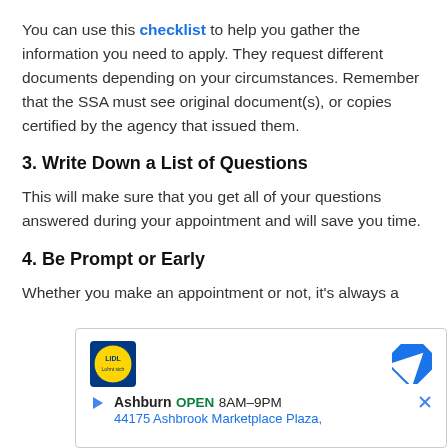You can use this checklist to help you gather the information you need to apply. They request different documents depending on your circumstances. Remember that the SSA must see original document(s), or copies certified by the agency that issued them.
3. Write Down a List of Questions
This will make sure that you get all of your questions answered during your appointment and will save you time.
4. Be Prompt or Early
Whether you make an appointment or not, it's always a
[Figure (other): Advertisement for Lidl store in Ashburn, showing Lidl logo, navigation icon, store hours OPEN 8AM-9PM, and address 44175 Ashbrook Marketplace Plaza.]